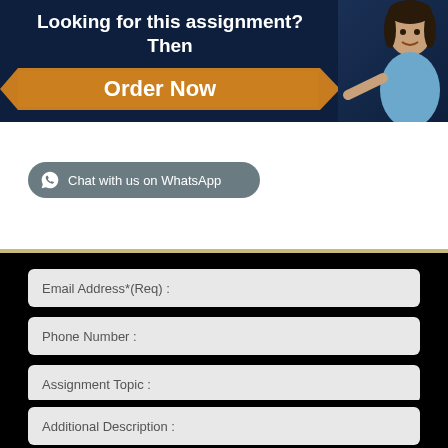[Figure (infographic): Dark blue banner with text 'Looking for this assignment? Then Order Now' in white/orange ribbon, with a woman photo on the right side]
Quick Contact
Email Address*(Req) :
Phone Number :
Assignment Topic :
Chat with us on WhatsApp
Additional Description :